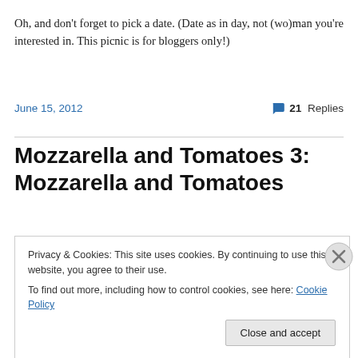Oh, and don't forget to pick a date. (Date as in day, not (wo)man you're interested in. This picnic is for bloggers only!)
June 15, 2012   💬 21 Replies
Mozzarella and Tomatoes 3: Mozzarella and Tomatoes
Privacy & Cookies: This site uses cookies. By continuing to use this website, you agree to their use.
To find out more, including how to control cookies, see here: Cookie Policy
Close and accept